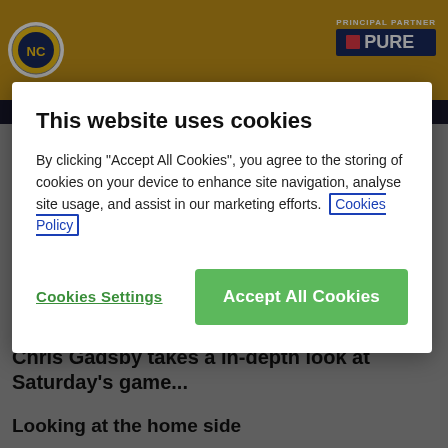[Figure (screenshot): Newport County FC website header with amber/golden background, club logo on left, and PURE principal partner logo on right]
151 views
Chris Gadsby takes a in-depth look at Saturday's game...
Looking at the home side
This website uses cookies
By clicking "Accept All Cookies", you agree to the storing of cookies on your device to enhance site navigation, analyse site usage, and assist in our marketing efforts. Cookies Policy
Cookies Settings
Accept All Cookies